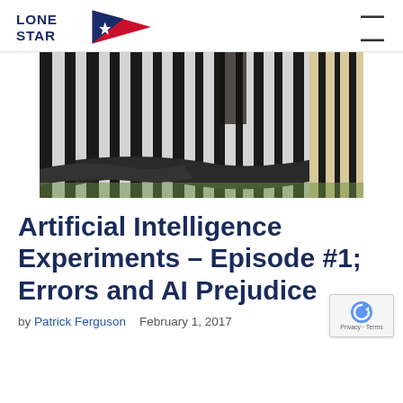LONE STAR [logo]
[Figure (photo): Close-up photograph of zebras with black and white stripes; a dark tree branch or log is visible in the foreground; green foliage in background]
Artificial Intelligence Experiments – Episode #1; Errors and AI Prejudice
by Patrick Ferguson   February 1, 2017